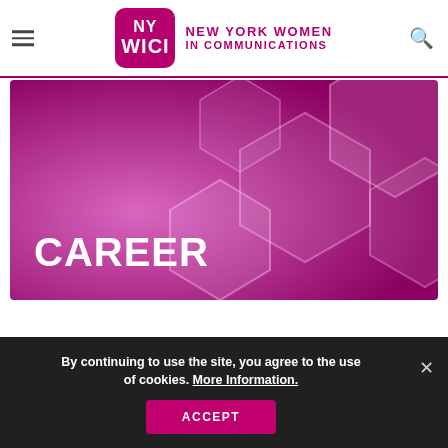NY WICI — NEW YORK WOMEN IN COMMUNICATIONS
[Figure (illustration): Hero banner with purple/magenta hexagonal bokeh background and large white bold text reading CAREER]
CAREER
By continuing to use the site, you agree to the use of cookies. More Information.
ACCEPT